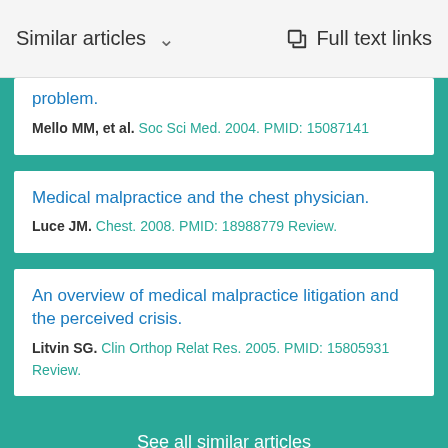Similar articles   Full text links
problem.
Mello MM, et al. Soc Sci Med. 2004. PMID: 15087141
Medical malpractice and the chest physician.
Luce JM. Chest. 2008. PMID: 18988779 Review.
An overview of medical malpractice litigation and the perceived crisis.
Litvin SG. Clin Orthop Relat Res. 2005. PMID: 15805931 Review.
See all similar articles